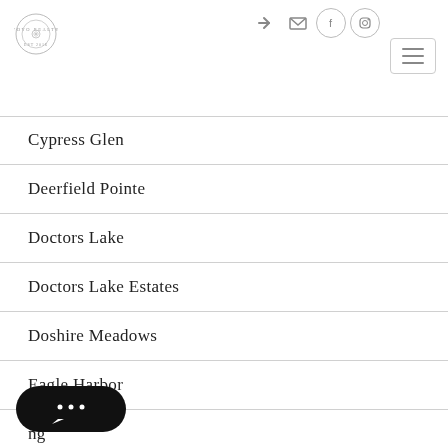Logo and navigation header with icons
Cypress Glen
Deerfield Pointe
Doctors Lake
Doctors Lake Estates
Doshire Meadows
Eagle Harbor
…ing